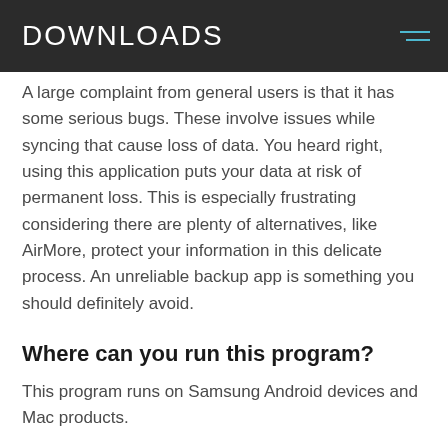DOWNLOADS
A large complaint from general users is that it has some serious bugs. These involve issues while syncing that cause loss of data. You heard right, using this application puts your data at risk of permanent loss. This is especially frustrating considering there are plenty of alternatives, like AirMore, protect your information in this delicate process. An unreliable backup app is something you should definitely avoid.
Where can you run this program?
This program runs on Samsung Android devices and Mac products.
Is there a better alternative?